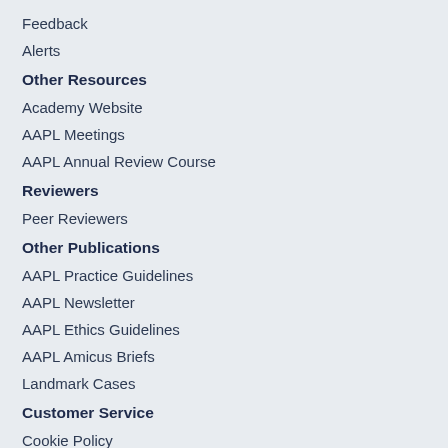Feedback
Alerts
Other Resources
Academy Website
AAPL Meetings
AAPL Annual Review Course
Reviewers
Peer Reviewers
Other Publications
AAPL Practice Guidelines
AAPL Newsletter
AAPL Ethics Guidelines
AAPL Amicus Briefs
Landmark Cases
Customer Service
Cookie Policy